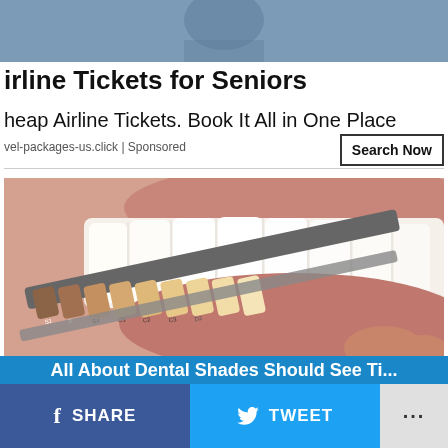[Figure (photo): Partial photo of a person at the top, cropped]
irline Tickets for Seniors
heap Airline Tickets. Book It All in One Place
vel-packages-us.click | Sponsored
[Figure (photo): Close-up photo of smiling teeth with a dental shade guide showing various tooth color samples labeled S1, B, B4, C1, C2, C3]
Search Now
SHARE   TWEET   ...